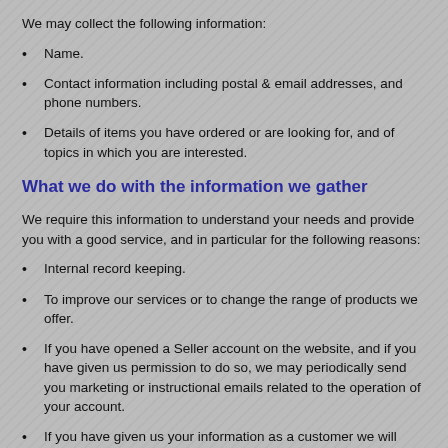We may collect the following information:
Name.
Contact information including postal & email addresses, and phone numbers.
Details of items you have ordered or are looking for, and of topics in which you are interested.
What we do with the information we gather
We require this information to understand your needs and provide you with a good service, and in particular for the following reasons:
Internal record keeping.
To improve our services or to change the range of products we offer.
If you have opened a Seller account on the website, and if you have given us permission to do so, we may periodically send you marketing or instructional emails related to the operation of your account.
If you have given us your information as a customer we will NOT send you marketing emails of any sort, only transactional emails